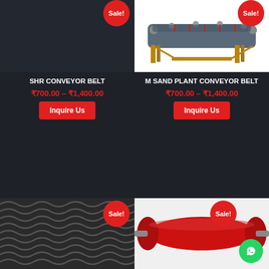[Figure (photo): SHR Conveyor Belt product card with Sale badge, dark background, price ₹700.00 – ₹1,400.00 and Inquire Us button]
[Figure (photo): M Sand Plant Conveyor Belt product card with Sale badge, photo of industrial conveyor belt, price ₹700.00 – ₹1,400.00 and Inquire Us button]
[Figure (photo): Bottom left product card with Sale badge showing corrugated rubber belt texture pattern]
[Figure (photo): Bottom right product card with Sale badge showing red cylindrical roller and WhatsApp button]